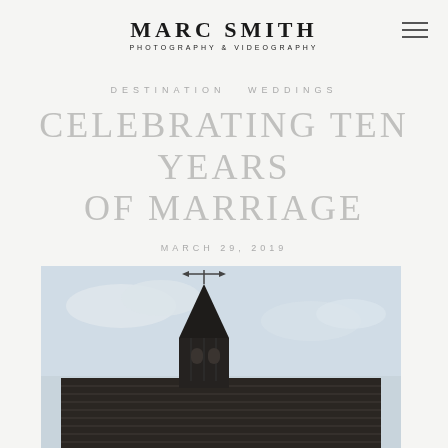MARC SMITH
PHOTOGRAPHY & VIDEOGRAPHY
DESTINATION WEDDINGS
CELEBRATING TEN YEARS OF MARRIAGE
MARCH 29, 2019
[Figure (photo): A dark wooden church or chapel with a pointed steeple topped by a weather vane, photographed against a pale cloudy sky. The roof has horizontal wooden slats. The image is cropped showing mainly the upper portion of the building.]